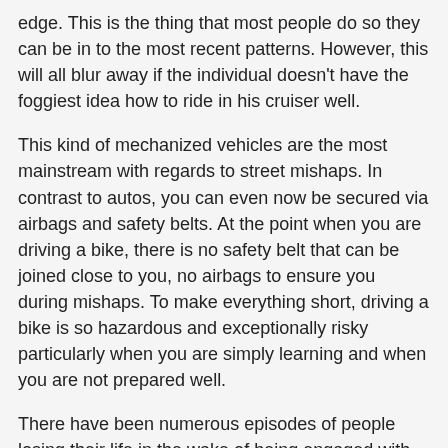edge. This is the thing that most people do so they can be in to the most recent patterns. However, this will all blur away if the individual doesn't have the foggiest idea how to ride in his cruiser well.
This kind of mechanized vehicles are the most mainstream with regards to street mishaps. In contrast to autos, you can even now be secured via airbags and safety belts. At the point when you are driving a bike, there is no safety belt that can be joined close to you, no airbags to ensure you during mishaps. To make everything short, driving a bike is so hazardous and exceptionally risky particularly when you are simply learning and when you are not prepared well.
There have been numerous episodes of people losing their life in the wake of being engaged with engine mishaps and it is extremely such a pity when you consider it. At the point when you see people driving their cruisers, you truly would wish you had a c2 tazer and simply hit them from a remote place subsequent to driving excessively and being careless with their life.